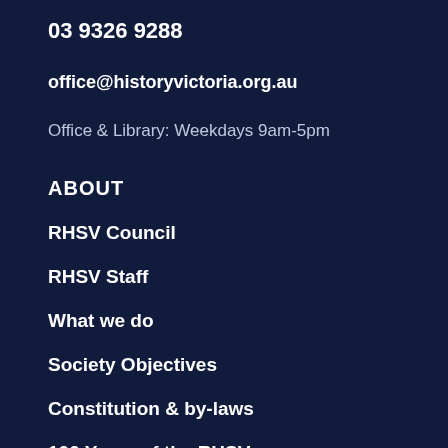03 9326 9288
office@historyvictoria.org.au
Office & Library: Weekdays 9am-5pm
ABOUT
RHSV Council
RHSV Staff
What we do
Society Objectives
Constitution & by-laws
100 Years of the RHSV